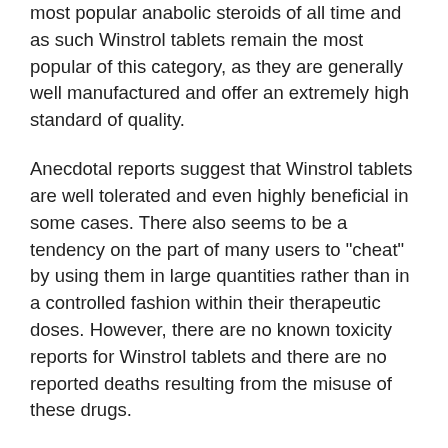most popular anabolic steroids of all time and as such Winstrol tablets remain the most popular of this category, as they are generally well manufactured and offer an extremely high standard of quality.
Anecdotal reports suggest that Winstrol tablets are well tolerated and even highly beneficial in some cases. There also seems to be a tendency on the part of many users to "cheat" by using them in large quantities rather than in a controlled fashion within their therapeutic doses. However, there are no known toxicity reports for Winstrol tablets and there are no reported deaths resulting from the misuse of these drugs.
Winstrol contains 7 mg of testosterone per tablet, and as such is about three times the dose recommended to use. The tablet also contains stanozolol, an anabolic steroid hormone that is metabolised by alpha-